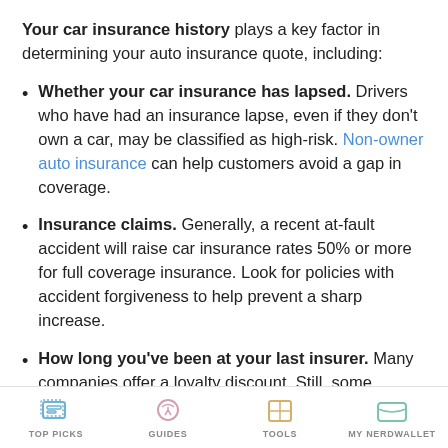Your car insurance history plays a key factor in determining your auto insurance quote, including:
Whether your car insurance has lapsed. Drivers who have had an insurance lapse, even if they don't own a car, may be classified as high-risk. Non-owner auto insurance can help customers avoid a gap in coverage.
Insurance claims. Generally, a recent at-fault accident will raise car insurance rates 50% or more for full coverage insurance. Look for policies with accident forgiveness to help prevent a sharp increase.
How long you've been at your last insurer. Many companies offer a loyalty discount. Still, some
TOP PICKS  GUIDES  TOOLS  MY NERDWALLET